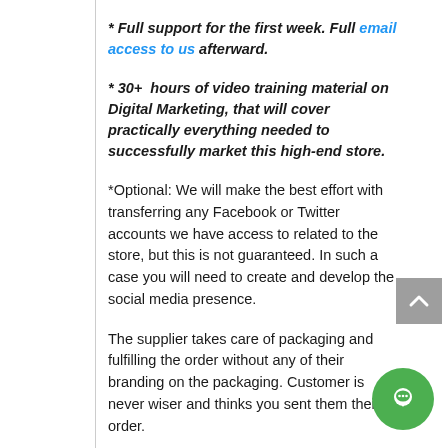* Full support for the first week. Full email access to us afterward.
* 30+  hours of video training material on Digital Marketing, that will cover practically everything needed to successfully market this high-end store.
*Optional: We will make the best effort with transferring any Facebook or Twitter accounts we have access to related to the store, but this is not guaranteed. In such a case you will need to create and develop the social media presence.
The supplier takes care of packaging and fulfilling the order without any of their branding on the packaging. Customer is never wiser and thinks you sent them their order.
You have full control over your profits, pricing